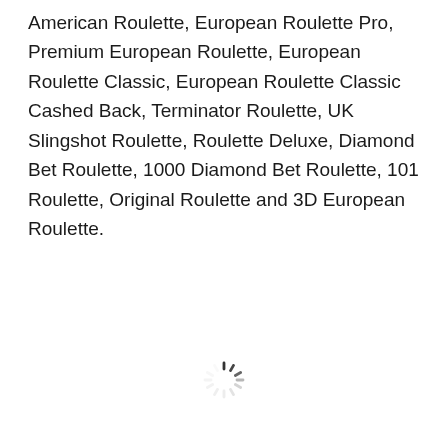American Roulette, European Roulette Pro, Premium European Roulette, European Roulette Classic, European Roulette Classic Cashed Back, Terminator Roulette, UK Slingshot Roulette, Roulette Deluxe, Diamond Bet Roulette, 1000 Diamond Bet Roulette, 101 Roulette, Original Roulette and 3D European Roulette.
[Figure (other): Loading spinner icon — a circular arrangement of short radial lines in a pinwheel/clock pattern, typical of a web loading indicator.]